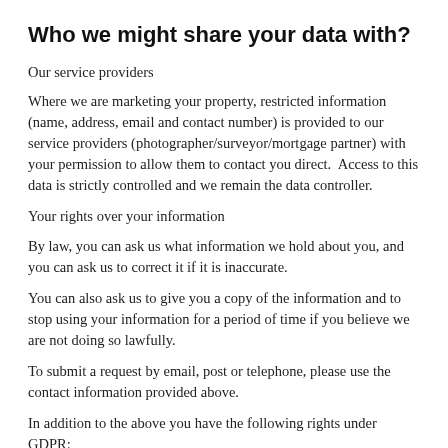Who we might share your data with?
Our service providers
Where we are marketing your property, restricted information (name, address, email and contact number) is provided to our service providers (photographer/surveyor/mortgage partner) with your permission to allow them to contact you direct.  Access to this data is strictly controlled and we remain the data controller.
Your rights over your information
By law, you can ask us what information we hold about you, and you can ask us to correct it if it is inaccurate.
You can also ask us to give you a copy of the information and to stop using your information for a period of time if you believe we are not doing so lawfully.
To submit a request by email, post or telephone, please use the contact information provided above.
In addition to the above you have the following rights under GDPR:
The processing was unlawful and you request restricted